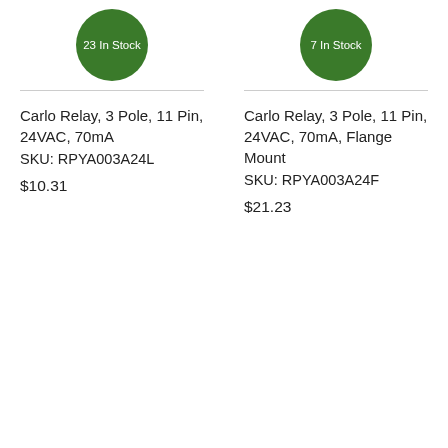[Figure (infographic): Green circular badge with text '23 In Stock']
Carlo Relay, 3 Pole, 11 Pin, 24VAC, 70mA
SKU: RPYA003A24L
$10.31
[Figure (infographic): Green circular badge with text '7 In Stock']
Carlo Relay, 3 Pole, 11 Pin, 24VAC, 70mA, Flange Mount
SKU: RPYA003A24F
$21.23